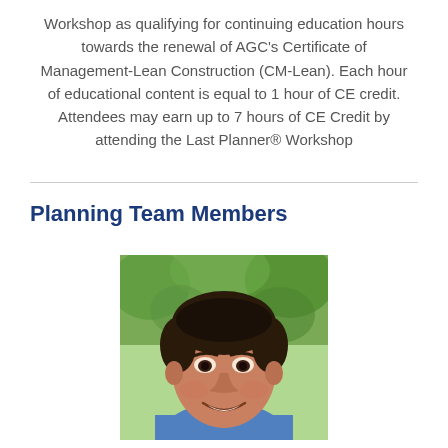Workshop as qualifying for continuing education hours towards the renewal of AGC's Certificate of Management-Lean Construction (CM-Lean). Each hour of educational content is equal to 1 hour of CE credit. Attendees may earn up to 7 hours of CE Credit by attending the Last Planner® Workshop
Planning Team Members
[Figure (photo): Headshot of a smiling man with short dark hair, wearing a blue shirt, with green foliage in the background]